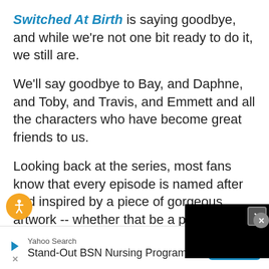Switched At Birth is saying goodbye, and while we're not one bit ready to do it, we still are.
We'll say goodbye to Bay, and Daphne, and Toby, and Travis, and Emmett and all the characters who have become great friends to us.
Looking back at the series, most fans know that every episode is named after and inspired by a piece of gorgeous artwork -- whether that be a painting, a litho...
[Figure (other): Black video overlay panel with close button (X)]
[Figure (other): Accessibility button (orange circle with person icon)]
Yahoo Search
Stand-Out BSN Nursing Programs
OPEN